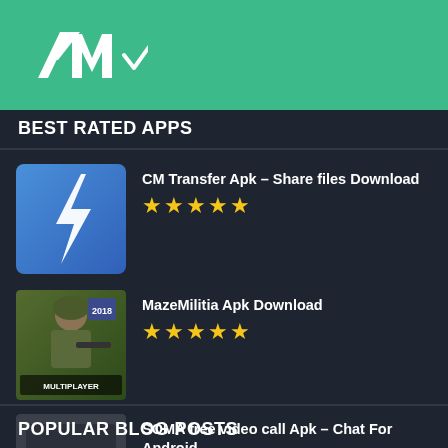[Figure (logo): AM logo in white on teal/green background header bar]
BEST RATED APPS
CM Transfer Apk – Share files Download ★★★★★
MazeMilitia Apk Download ★★★★★
SOMA free video call Apk – Chat For Android
Instanza Interactive Limited ★★★★★
POPULAR BLOG POSTS